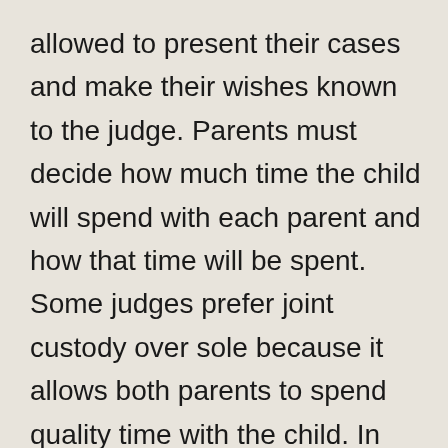allowed to present their cases and make their wishes known to the judge. Parents must decide how much time the child will spend with each parent and how that time will be spent. Some judges prefer joint custody over sole because it allows both parents to spend quality time with the child. In the St. Louis visitation court, joint custody is usually the preferred arrangement because it tends to lead to a more peaceful and amicable relationship between the two parents.